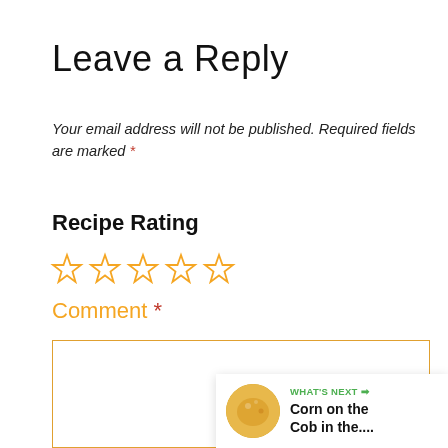Leave a Reply
Your email address will not be published. Required fields are marked *
Recipe Rating
[Figure (other): Five empty star rating icons in orange/gold color]
Comment *
[Figure (other): Comment text input box with orange border]
[Figure (other): Green heart button with count 19 and share button on sidebar]
[Figure (other): What's Next panel showing Corn on the Cob in the... with thumbnail]